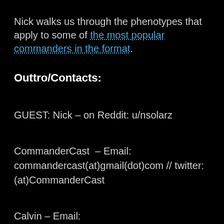Nick walks us through the phenotypes that apply to some of the most popular commanders in the format.
Outtro/Contacts:
GUEST: Nick – on Reddit: u/nsolarz
CommanderCast – Email: commandercast(at)gmail(dot)com // twitter: (at)CommanderCast
Calvin – Email: captainredzone(at)gmail(dot)com //